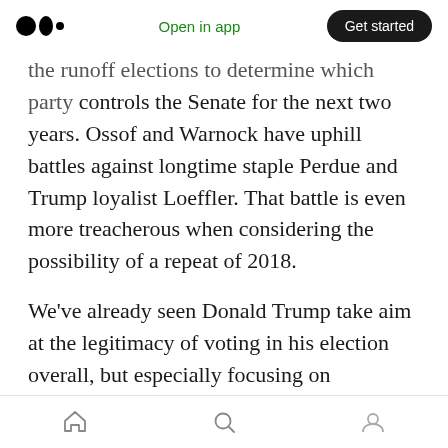Medium logo | Open in app | Get started
the runoff elections to determine which party controls the Senate for the next two years. Ossof and Warnock have uphill battles against longtime staple Perdue and Trump loyalist Loeffler. That battle is even more treacherous when considering the possibility of a repeat of 2018.
We've already seen Donald Trump take aim at the legitimacy of voting in his election overall, but especially focusing on strongholds that determined major wins for Biden: Detroit, Milwaukee, Philadelphia, and Atlanta. Ostensibly
Home | Search | Profile